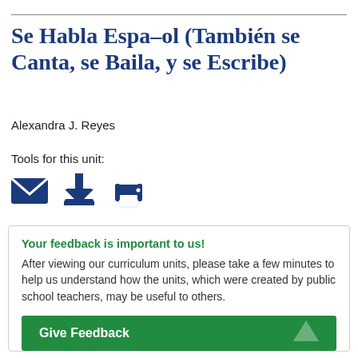Se Habla Espa–ol (También se Canta, se Baila, y se Escribe)
Alexandra J. Reyes
Tools for this unit:
[Figure (infographic): Three icons: envelope (email), download arrow, printer — in dark blue]
Your feedback is important to us! After viewing our curriculum units, please take a few minutes to help us understand how the units, which were created by public school teachers, may be useful to others.
Give Feedback